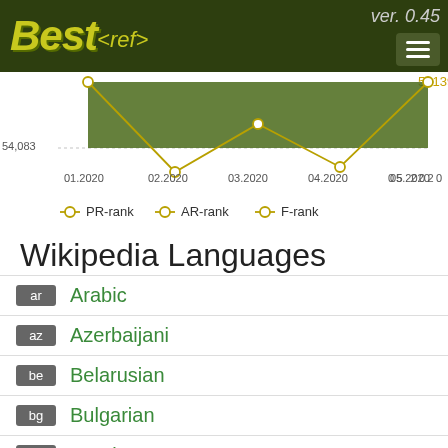[Figure (screenshot): Best<ref> website header with logo and ver. 0.45]
[Figure (line-chart): Line chart showing PR-rank, AR-rank, F-rank over 01.2020 to 06.2020, with value 54,083 on y-axis and 50139 labeled]
PR-rank  AR-rank  F-rank
Wikipedia Languages
ar  Arabic
az  Azerbaijani
be  Belarusian
bg  Bulgarian
ca  Catalan
cs  Czech
da  Danish
de  German
el  Greek
en  English